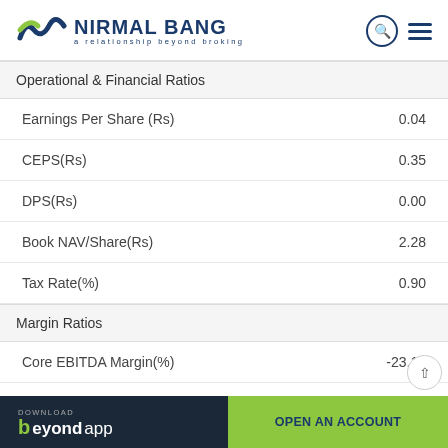NIRMAL BANG a relationship beyond broking
Operational & Financial Ratios
| Metric | Value |
| --- | --- |
| Earnings Per Share (Rs) | 0.04 |
| CEPS(Rs) | 0.35 |
| DPS(Rs) | 0.00 |
| Book NAV/Share(Rs) | 2.28 |
| Tax Rate(%) | 0.90 |
Margin Ratios
| Metric | Value |
| --- | --- |
| Core EBITDA Margin(%) | -23.10 |